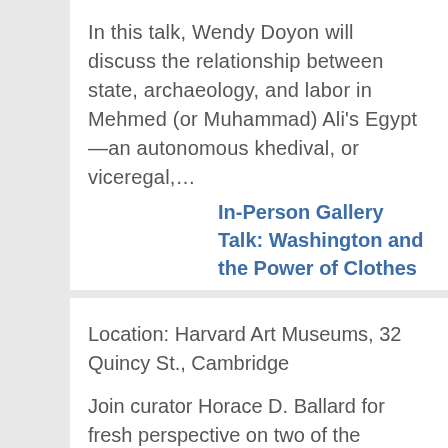In this talk, Wendy Doyon will discuss the relationship between state, archaeology, and labor in Mehmed (or Muhammad) Ali's Egypt—an autonomous khedival, or viceregal,…
In-Person Gallery Talk: Washington and the Power of Clothes
Location: Harvard Art Museums, 32 Quincy St., Cambridge
Join curator Horace D. Ballard for fresh perspective on two of the museums' iconic portraits of George